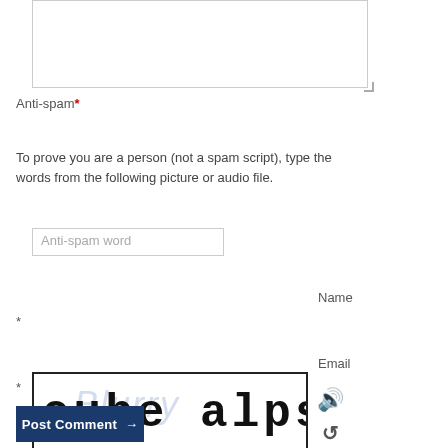[Figure (screenshot): Comment textarea (empty, resizable)]
Anti-spam*
[Figure (screenshot): Anti-spam word input field (placeholder text)]
To prove you are a person (not a spam script), type the words from the following picture or audio file.
[Figure (other): CAPTCHA image showing the text 'cube alps' in bold handwritten style with light blue watermark text in background, bordered by a black rectangle. Audio icon and refresh icon to the right.]
Name
[Figure (screenshot): Name input field]
*
Email
[Figure (screenshot): Email input field]
*
Post Comment →